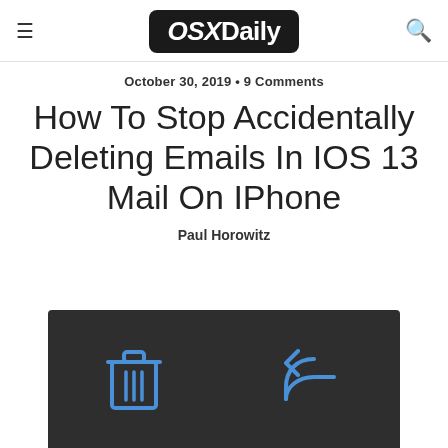OSXDaily
October 30, 2019 • 9 Comments
How To Stop Accidentally Deleting Emails In IOS 13 Mail On IPhone
Paul Horowitz
[Figure (screenshot): Dark toolbar showing a trash/delete icon and a reply icon in blue on a dark gray background]